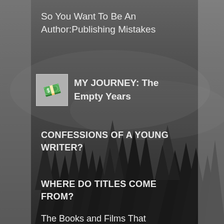So You Want To Be An Author:Publishing Mistakes
[Figure (illustration): Small icon of a money/phone emoji on a grey square background, representing a book or app thumbnail for MY JOURNEY: The Empty Years]
MY JOURNEY: The Empty Years
CONFESSIONS OF A YOUNG WRITER?
WHERE DO TITLES COME FROM?
The Books and Films That